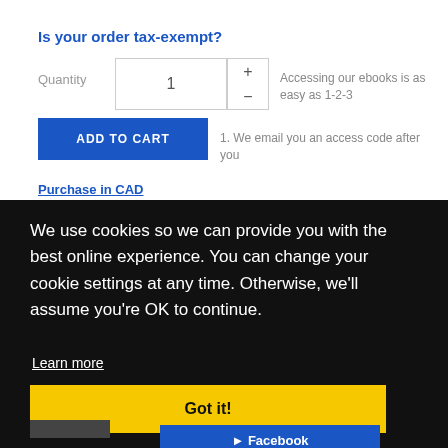Is your order tax-exempt?
Quantity
1
Accessing our ebooks is as easy as 1-2-3
ADD TO CART
1. We email you an access code after you
Purchase in CAD
We use cookies so we can provide you with the best online experience. You can change your cookie settings at any time. Otherwise, we'll assume you're OK to continue.
Learn more
Got it!
Facebook